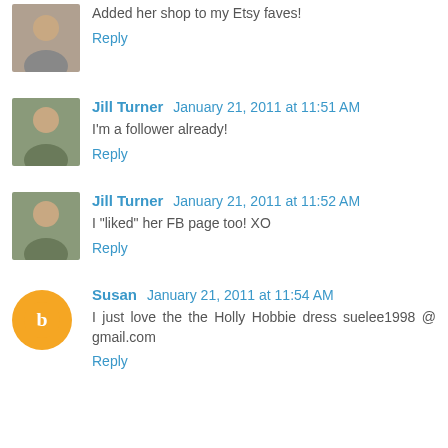[Figure (photo): Small avatar photo of a person, cropped square]
Added her shop to my Etsy faves!
Reply
[Figure (photo): Small avatar photo of Jill Turner]
Jill Turner January 21, 2011 at 11:51 AM
I'm a follower already!
Reply
[Figure (photo): Small avatar photo of Jill Turner]
Jill Turner January 21, 2011 at 11:52 AM
I "liked" her FB page too! XO
Reply
[Figure (illustration): Orange circular Blogger logo icon]
Susan January 21, 2011 at 11:54 AM
I just love the the Holly Hobbie dress suelee1998 @ gmail.com
Reply